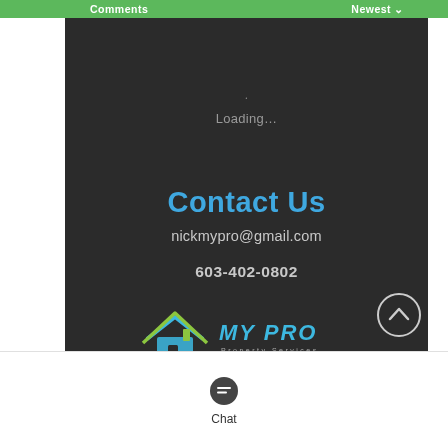Comments   Newest
Loading…
Contact Us
nickmypro@gmail.com
603-402-0802
[Figure (logo): My Pro Property Services logo with house icon]
Chat